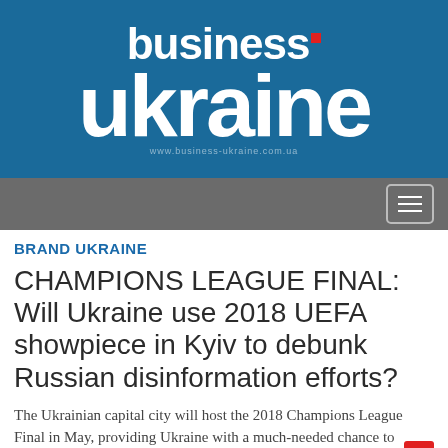[Figure (logo): Business Ukraine magazine logo. White bold text 'business' with a small red square, and large white bold text 'ukraine' on a steel blue background, with a faint tagline below.]
Navigation bar with hamburger menu button
BRAND UKRAINE
CHAMPIONS LEAGUE FINAL: Will Ukraine use 2018 UEFA showpiece in Kyiv to debunk Russian disinformation efforts?
The Ukrainian capital city will host the 2018 Champions League Final in May, providing Ukraine with a much-needed chance to counter Kremlin